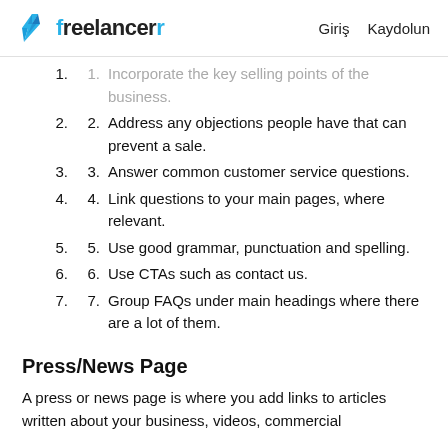freelancer  Giriş  Kaydolun
1. Incorporate the key selling points of the business.
2. Address any objections people have that can prevent a sale.
3. Answer common customer service questions.
4. Link questions to your main pages, where relevant.
5. Use good grammar, punctuation and spelling.
6. Use CTAs such as contact us.
7. Group FAQs under main headings where there are a lot of them.
Press/News Page
A press or news page is where you add links to articles written about your business, videos, commercial